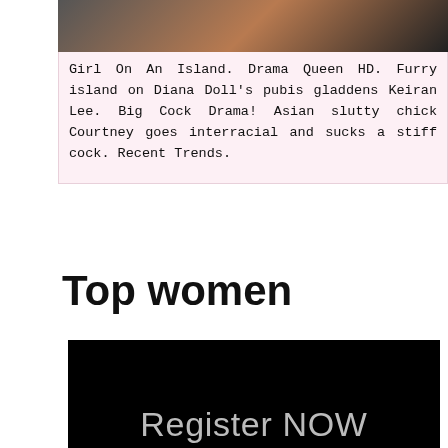[Figure (illustration): Partial illustration image cropped at top of card, showing anime/cartoon style artwork with skin tones and dark elements]
Girl On An Island. Drama Queen HD. Furry island on Diana Doll's pubis gladdens Keiran Lee. Big Cock Drama! Asian slutty chick Courtney goes interracial and sucks a stiff cock. Recent Trends.
Top women
[Figure (screenshot): Black background image with 'Register NOW' text in light gray]